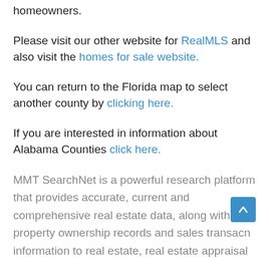homeowners.
Please visit our other website for RealMLS and also visit the homes for sale website.
You can return to the Florida map to select another county by clicking here.
If you are interested in information about Alabama Counties click here.
MMT SearchNet is a powerful research platform that provides accurate, current and comprehensive real estate data, along with property ownership records and sales transaction information to real estate, real estate appraisal